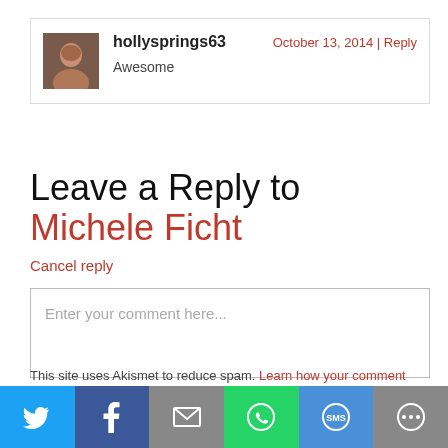[Figure (photo): Comment from user hollysprings63 with avatar photo, dated October 13, 2014, with Reply link and comment text 'Awesome']
Leave a Reply to Michele Ficht
Cancel reply
Enter your comment here...
This site uses Akismet to reduce spam. Learn how your comment data is processed.
Don't miss a thing!
[Figure (infographic): Social sharing bar with Twitter, Facebook, Email, WhatsApp, SMS, and More buttons]